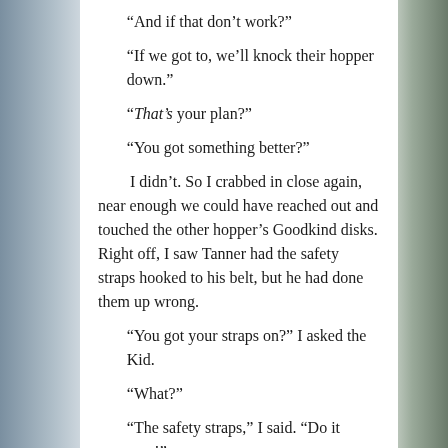“And if that don’t work?”
“If we got to, we’ll knock their hopper down.”
“That’s your plan?”
“You got something better?”
I didn’t. So I crabbed in close again, near enough we could have reached out and touched the other hopper’s Goodkind disks. Right off, I saw Tanner had the safety straps hooked to his belt, but he had done them up wrong.
“You got your straps on?” I asked the Kid.
“What?”
“The safety straps,” I said. “Do it now!”
Sweetwater must have heard me. She looked